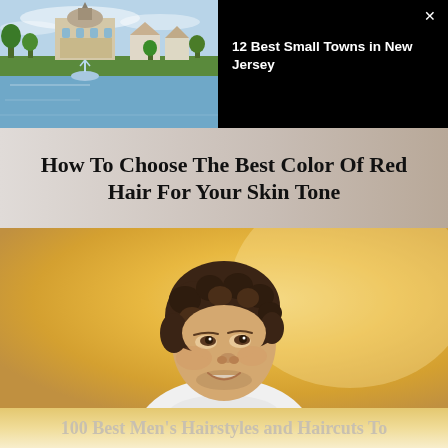[Figure (photo): Scenic photo of a small town in New Jersey with a lake, fountain, and historic building]
12 Best Small Towns in New Jersey
How To Choose The Best Color Of Red Hair For Your Skin Tone
[Figure (photo): Young man with curly dark hair smiling, photographed against a golden/amber background]
100 Best Men's Hairstyles and Haircuts To